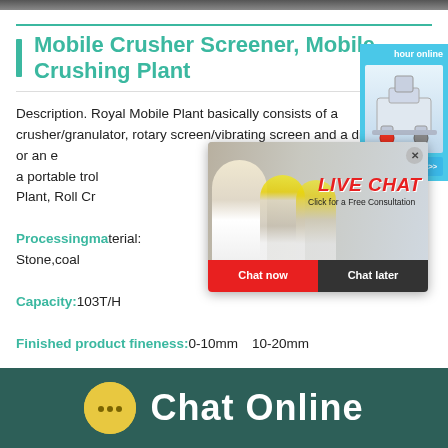[Figure (screenshot): Top navigation bar, dark gray]
Mobile Crusher Screener, Mobile Crushing Plant
Description. Royal Mobile Plant basically consists of a crusher/granulator, rotary screen/vibrating screen and a diesel engine or an e[lectric motor. The whole plant is mounted on] a portable trol[ley that can be towed by a truck. Jaw Crusher] Plant, Roll Cr[usher Plant, Impact Crusher Plant...]
Processingma[terial:]
Stone,coal
Capacity:103T/H
Finished product fineness:0-10mm、10-20mm
[Figure (screenshot): Live Chat popup overlay with people wearing hard hats, LIVE CHAT text in red italic, Click for a Free Consultation, Chat now and Chat later buttons]
[Figure (screenshot): Right side widget with blue background, hour online text, crusher machine image, Click me to chat>> button]
[Figure (screenshot): Bottom dark teal bar with yellow chat bubble icon and Chat Online text in white]